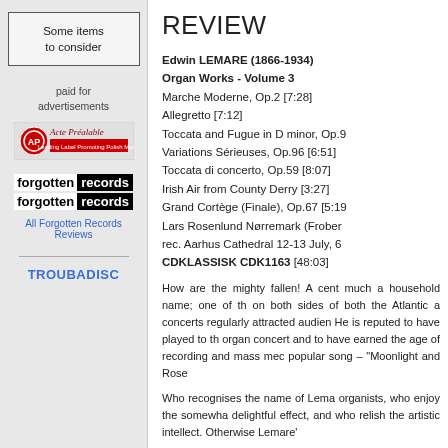Some items to consider
paid for advertisements
[Figure (logo): Acte Préalable - Leading Label Promoting Polish Music logo]
[Figure (logo): forgotten records logo (two rows)]
All Forgotten Records Reviews
TROUBADISC
REVIEW
Edwin LEMARE (1866-1934)
Organ Works - Volume 3
Marche Moderne, Op.2 [7:28]
Allegretto [7:12]
Toccata and Fugue in D minor, Op.9...
Variations Sérieuses, Op.96 [6:51]
Toccata di concerto, Op.59 [8:07]
Irish Air from County Derry [3:27]
Grand Cortège (Finale), Op.67 [5:1...]
Lars Rosenlund Nørremark (Frober...)
rec. Aarhus Cathedral 12-13 July, 6...
CDKLASSISK CDK1163 [48:03]
How are the mighty fallen! A cent... much a household name; one of th... on both sides of both the Atlantic a... concerts regularly attracted audien... He is reputed to have played to th... organ concert and to have earned ... the age of recording and mass mec... popular song – "Moonlight and Rose...
Who recognises the name of Lema... organists, who enjoy the somewha... delightful effect, and who relish the... artistic intellect. Otherwise Lemare'...